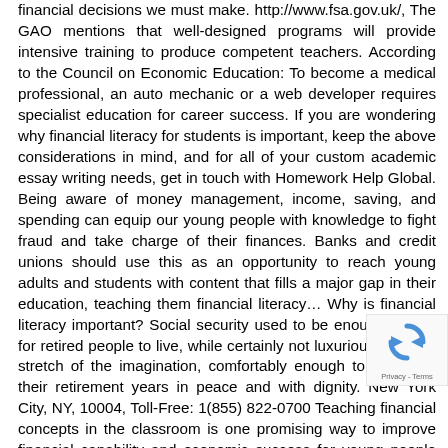financial decisions we must make. http://www.fsa.gov.uk/, The GAO mentions that well-designed programs will provide intensive training to produce competent teachers. According to the Council on Economic Education: To become a medical professional, an auto mechanic or a web developer requires specialist education for career success. If you are wondering why financial literacy for students is important, keep the above considerations in mind, and for all of your custom academic essay writing needs, get in touch with Homework Help Global. Being aware of money management, income, saving, and spending can equip our young people with knowledge to fight fraud and take charge of their finances. Banks and credit unions should use this as an opportunity to reach young adults and students with content that fills a major gap in their education, teaching them financial literacy… Why is financial literacy important? Social security used to be enough money for retired people to live, while certainly not luxuriously by any stretch of the imagination, comfortably enough to finish out their retirement years in peace and with dignity. New York City, NY, 10004, Toll-Free: 1(855) 822-0700 Teaching financial concepts in the classroom is one promising way to improve financial capability and economic success for young people and ensures that all kids have an equal opportunity to learn about finances, regardless of their family's financial background or experience. If college is in your future, either as a parent or as a student, you might be asking yourself an important question. Some believe the duty should be
[Figure (other): reCAPTCHA widget overlay in the bottom right corner showing the reCAPTCHA logo and 'Privacy - Terms' text]